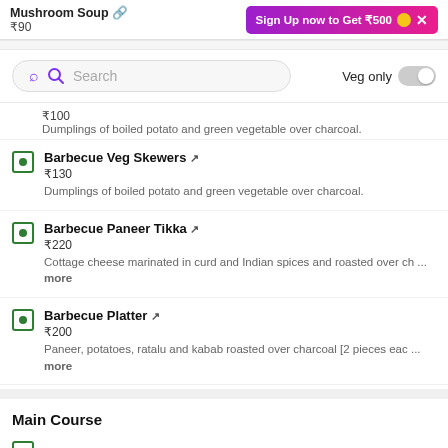Mushroom Soup ₹90
Sign Up now to Get ₹500
[Figure (screenshot): Search bar with purple magnifying glass icon and 'Search' placeholder text]
Veg only
₹100
Dumplings of boiled potato and green vegetable over charcoal.
Barbecue Veg Skewers
₹130
Dumplings of boiled potato and green vegetable over charcoal.
Barbecue Paneer Tikka
₹220
Cottage cheese marinated in curd and Indian spices and roasted over ch ... more
Barbecue Platter
₹200
Paneer, potatoes, ratalu and kabab roasted over charcoal [2 pieces eac ... more
Main Course
C G Special